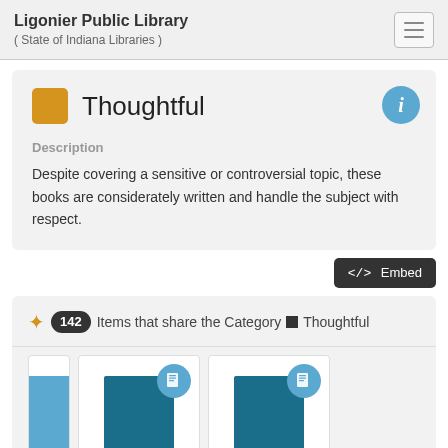Ligonier Public Library
( State of Indiana Libraries )
Thoughtful
Description
Despite covering a sensitive or controversial topic, these books are considerately written and handle the subject with respect.
</> Embed
142 Items that share the Category ■ Thoughtful
[Figure (screenshot): Book cover thumbnails row showing partial blue book on left, two teal book covers with blue circular book-type badge icons]